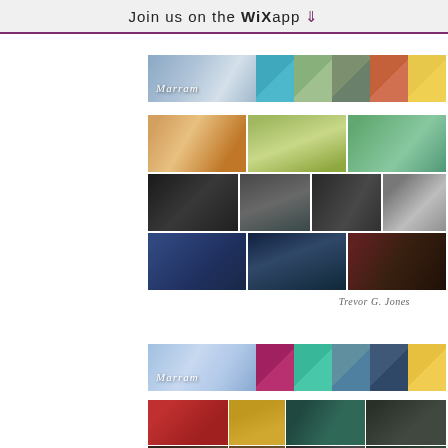Join us on the WiX app ↓
[Figure (illustration): Marram film color palette strip with landscape photo and diagonal color swatches in teal, green, olive, orange-red, yellow]
[Figure (photo): 3x3 grid of film stills: top row warm outdoor color photos of people in nature, middle row black and white moody dark stills, bottom row blue-toned silhouette outdoor scenes]
Trevor G. Jones (signature)
[Figure (illustration): Second Marram film color palette strip with cloudy sky photo and diagonal color swatches in magenta, teal, slate-blue, dark blue, yellow]
[Figure (photo): 2-row grid of film stills: top row four color outdoor/indoor scenes, bottom row four darker indoor scenes]